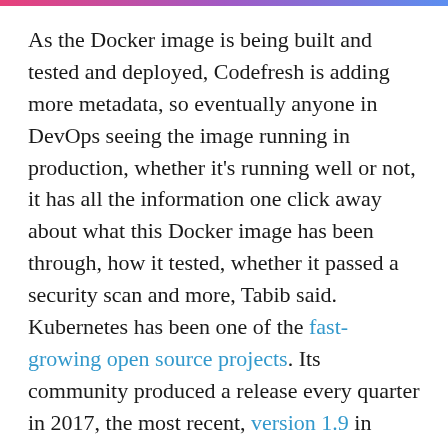As the Docker image is being built and tested and deployed, Codefresh is adding more metadata, so eventually anyone in DevOps seeing the image running in production, whether it's running well or not, it has all the information one click away about what this Docker image has been through, how it tested, whether it passed a security scan and more, Tabib said.
Kubernetes has been one of the fast-growing open source projects. Its community produced a release every quarter in 2017, the most recent, version 1.9 in December.
In a survey of 200 companies released last summer